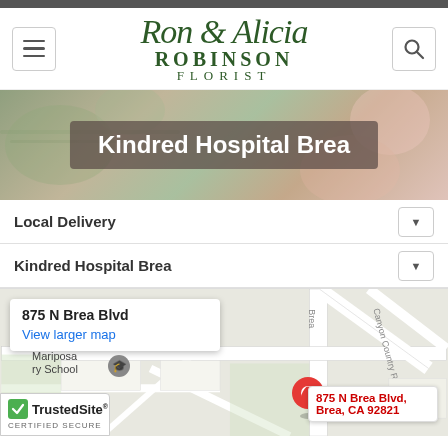[Figure (screenshot): Ron & Alicia Robinson Florist website header with hamburger menu button, logo, and search button]
[Figure (photo): Hero banner with floral arrangement background and dark overlay containing text 'Kindred Hospital Brea']
Kindred Hospital Brea
Local Delivery
Kindred Hospital Brea
[Figure (map): Google Maps showing 875 N Brea Blvd location with map card, pin marker labeled '875 N Brea Blvd, Brea, CA 92821', streets including Canyon Country Rd, and nearby Mariposa school. TrustedSite certified secure badge in bottom left.]